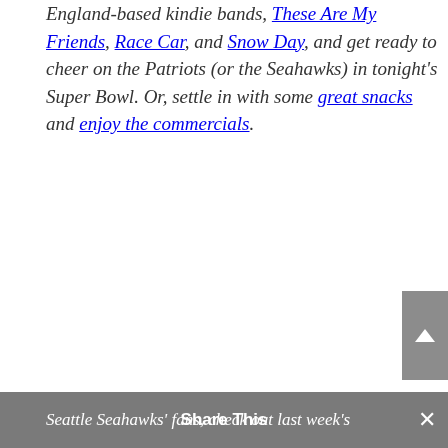England-based kindie bands, These Are My Friends, Race Car, and Snow Day, and get ready to cheer on the Patriots (or the Seahawks) in tonight's Super Bowl. Or, settle in with some great snacks and enjoy the commercials.
Seattle Seahawks' fans, check out last week's